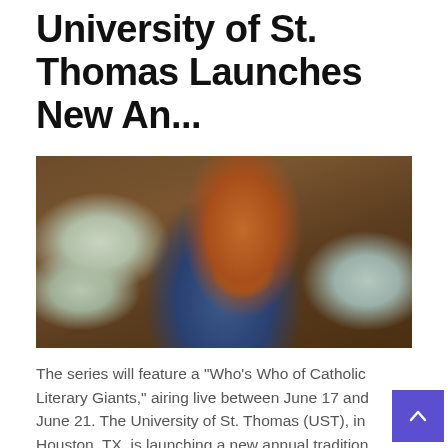University of St. Thomas Launches New An...
[Figure (photo): Overhead view of a person in an orange/brown sweater sitting on a wooden floor surrounded by open books, holding a wooden coffee cup]
The series will feature a "Who's Who of Catholic Literary Giants," airing live between June 17 and June 21. The University of St. Thomas (UST), in Houston, TX, is launching a new annual tradition that will together authors and distinguished Catholic sch to discuss the joy and beauty of the written word.